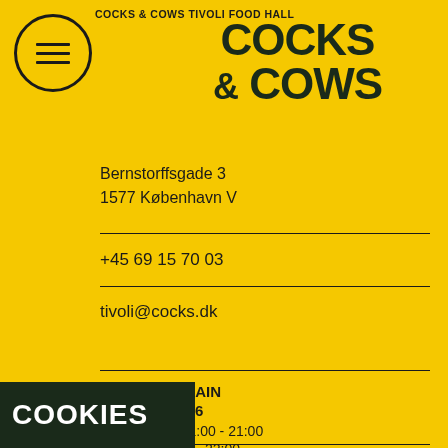COCKS & COWS TIVOLI FOOD HALL
COCKS & COWS
Bernstorffsgade 3
1577 København V
+45 69 15 70 03
tivoli@cocks.dk
OPENING AGAIN FEBRUARY 16
Sun - Thurs: 11:00 - 21:00
Fri - Sat: 11:00 - 22:00
COOKIES
Denne side benytter cookies. Læs mere
OK